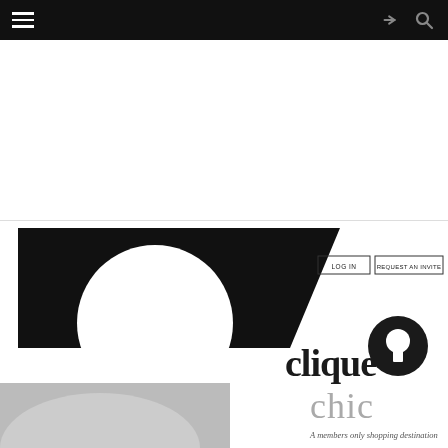Navigation bar with hamburger menu, share icon, and search icon
[Figure (screenshot): Clique Chic website screenshot showing the logo - a large black shape with white circle cutout forming a 'C', with 'clique' in serif font and 'chic' below it in lighter gray, plus a circular keyhole icon. Buttons 'LOG IN' and 'REQUEST AN INVITE' visible in top right of the image area. Tagline 'A members only shopping destination' at bottom.]